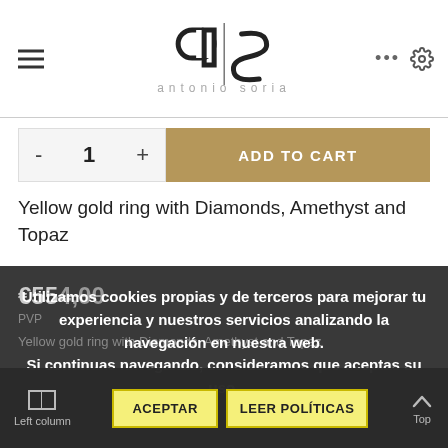[Figure (logo): Antonio Soria logo — stylized 'as' monogram above the brand name 'antonio soria' in light grey spaced lettering]
- 1 + ADD TO CART
Yellow gold ring with Diamonds, Amethyst and Topaz
€554.00
PVP
Yellow gold ring with Diamonds, Amethyst and Topaz
Utilizamos cookies propias y de terceros para mejorar tu experiencia y nuestros servicios analizando la navegación en nuestra web. Si continuas navegando, consideramos que aceptas su uso.
ACEPTAR    LEER POLÍTICAS
Left column    Top